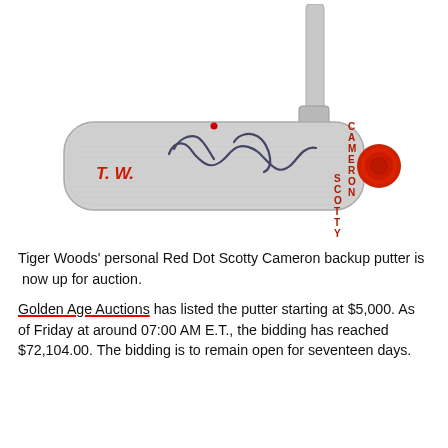[Figure (photo): A Scotty Cameron putter with Tiger Woods' signature on the face, 'T.W.' stamped on the heel, 'SCOTTY CAMERON' text on the toe, and a red dot on the back. The putter is silver/chrome with a blade-style head.]
Tiger Woods' personal Red Dot Scotty Cameron backup putter is now up for auction.
Golden Age Auctions has listed the putter starting at $5,000. As of Friday at around 07:00 AM E.T., the bidding has reached $72,104.00. The bidding is to remain open for seventeen days.